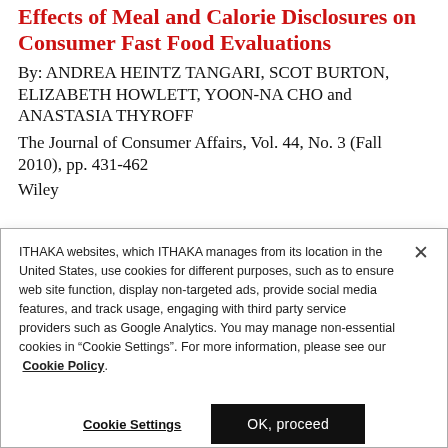Effects of Meal and Calorie Disclosures on Consumer Fast Food Evaluations
By: ANDREA HEINTZ TANGARI, SCOT BURTON, ELIZABETH HOWLETT, YOON-NA CHO and ANASTASIA THYROFF
The Journal of Consumer Affairs, Vol. 44, No. 3 (Fall 2010), pp. 431-462
Wiley
ITHAKA websites, which ITHAKA manages from its location in the United States, use cookies for different purposes, such as to ensure web site function, display non-targeted ads, provide social media features, and track usage, engaging with third party service providers such as Google Analytics. You may manage non-essential cookies in “Cookie Settings”. For more information, please see our Cookie Policy.
Cookie Settings
OK, proceed